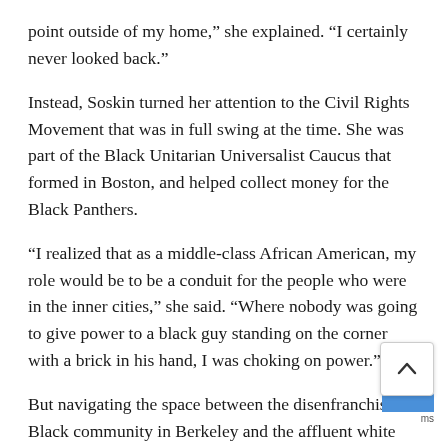point outside of my home,” she explained. “I certainly never looked back.”
Instead, Soskin turned her attention to the Civil Rights Movement that was in full swing at the time. She was part of the Black Unitarian Universalist Caucus that formed in Boston, and helped collect money for the Black Panthers.
“I realized that as a middle-class African American, my role would be to be a conduit for the people who were in the inner cities,” she said. “Where nobody was going to give power to a black guy standing on the corner with a brick in his hand, I was choking on power.”
But navigating the space between the disenfranchised Black community in Berkeley and the affluent white population in the suburbs was not easy. “I discovered that being a middle-class African American in the suburbs only existed in the mind of a middle-class black person in the suburbs,” she said. “To everybody else, we were that ni**ers on the